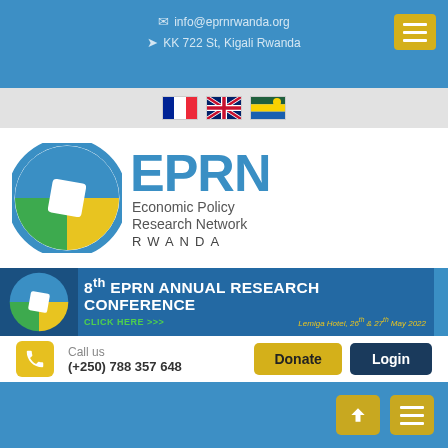info@eprnrwanda.org
KK 722 St, Kigali Rwanda
[Figure (logo): Language selector flags: French, UK/English, Rwanda]
[Figure (logo): EPRN Rwanda logo with circular icon and text: Economic Policy Research Network RWANDA]
[Figure (infographic): 8th EPRN ANNUAL RESEARCH CONFERENCE banner - CLICK HERE >>> - Lemiga Hotel, 26th & 27th May 2022]
Call us
(+250) 788 357 648
Donate
Login